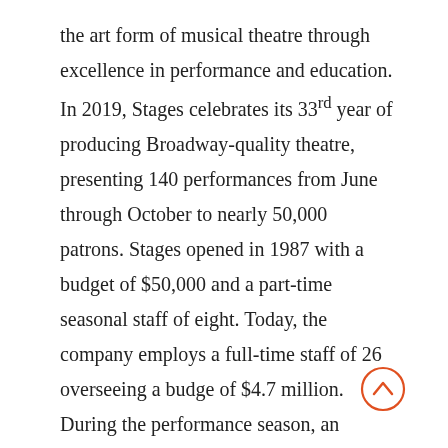the art form of musical theatre through excellence in performance and education. In 2019, Stages celebrates its 33rd year of producing Broadway-quality theatre, presenting 140 performances from June through October to nearly 50,000 patrons. Stages opened in 1987 with a budget of $50,000 and a part-time seasonal staff of eight. Today, the company employs a full-time staff of 26 overseeing a budge of $4.7 million. During the performance season, an additional 150 actors and crew members bring the productions to life. To date, Stages professionals have produced 116 musicals, with over 3,700 performances, playing to more than one million patrons. Subscriptions to the 2019 Season begin at $120 and will go on sale Dec. 3. Single tickets will go on sale